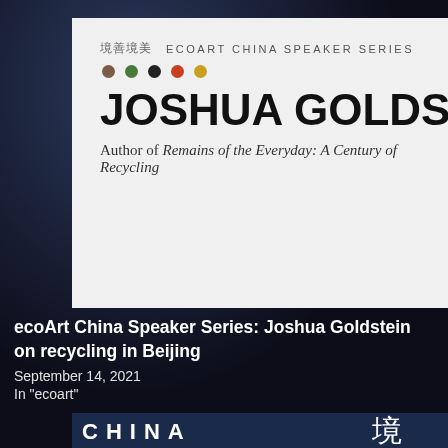[Figure (photo): White promotional card/poster for EcoArt China Speaker Series featuring Joshua Goldstein, with colored dots and Chinese characters 境善境美]
ecoArt China Speaker Series: Joshua Goldstein on recycling in Beijing
September 14, 2021
In "ecoart"
[Figure (photo): Bottom portion of promotional material showing yin-yang style graphic with Chinese characters 境 善 境 and text CHINA visible]